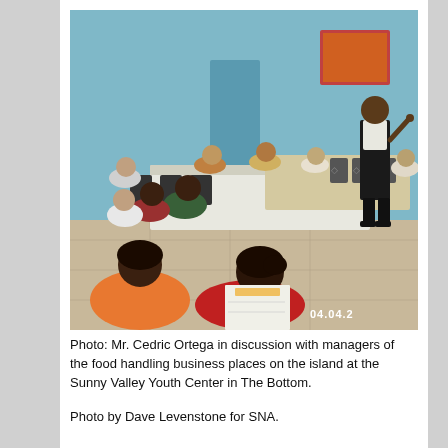[Figure (photo): Mr. Cedric Ortega standing and speaking to a room of seated participants around long tables at the Sunny Valley Youth Center in The Bottom. The room has light blue walls. A timestamp reads 04.04.2 in the bottom-right corner.]
Photo: Mr. Cedric Ortega in discussion with managers of the food handling business places on the island at the Sunny Valley Youth Center in The Bottom.
Photo by Dave Levenstone for SNA.